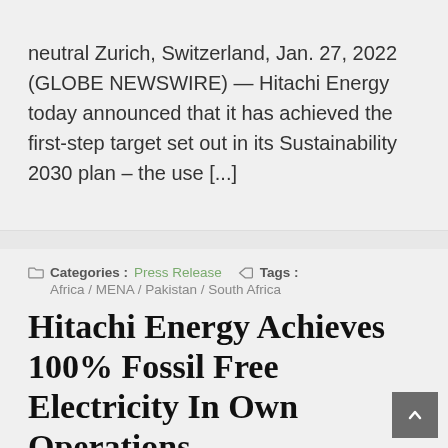neutral Zurich, Switzerland, Jan. 27, 2022 (GLOBE NEWSWIRE) — Hitachi Energy today announced that it has achieved the first-step target set out in its Sustainability 2030 plan – the use [...]
Categories : Press Release  Tags : Africa / MENA / Pakistan / South Africa
Hitachi Energy Achieves 100% Fossil Free Electricity In Own Operations
On January 27, 2022 / By Web Desk
The global technology and market leader in power g… has achieved the first-step target in its Sustainability